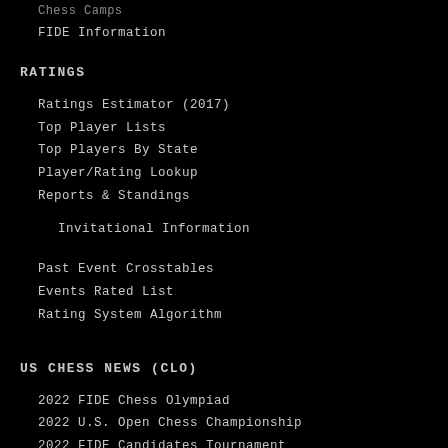Chess Camps
FIDE Information
RATINGS
Ratings Estimator (2017)
Top Player Lists
Top Players By State
Player/Rating Lookup
Reports & Standings
Invitational Information
Past Event Crosstables
Events Rated List
Rating System Algorithm
US CHESS NEWS (CLO)
2022 FIDE Chess Olympiad
2022 U.S. Open Chess Championship
2022 FIDE Candidates Tournament
CLO Past Events Coverage